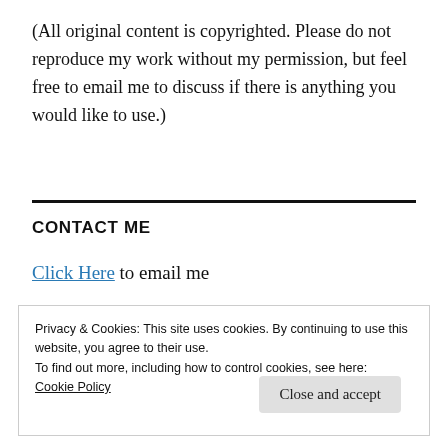(All original content is copyrighted. Please do not reproduce my work without my permission, but feel free to email me to discuss if there is anything you would like to use.)
CONTACT ME
Click Here to email me
Privacy & Cookies: This site uses cookies. By continuing to use this website, you agree to their use.
To find out more, including how to control cookies, see here:
Cookie Policy
Close and accept